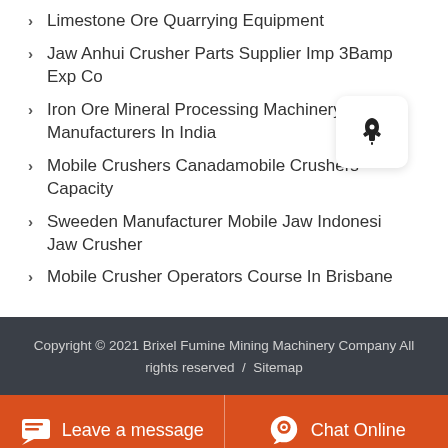Limestone Ore Quarrying Equipment
Jaw Anhui Crusher Parts Supplier Imp 3Bamp Exp Co
Iron Ore Mineral Processing Machinery Manufacturers In India
Mobile Crushers Canadamobile Crushers Capacity
Sweeden Manufacturer Mobile Jaw Indonesia Jaw Crusher
Mobile Crusher Operators Course In Brisbane
Copyright © 2021 Brixel Fumine Mining Machinery Company All rights reserved / Sitemap
Leave a message  Chat Online